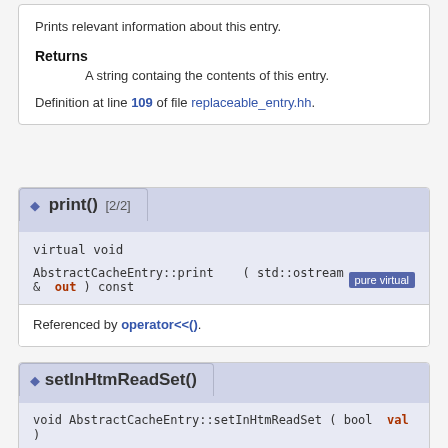Prints relevant information about this entry.
Returns
A string containg the contents of this entry.
Definition at line 109 of file replaceable_entry.hh.
print() [2/2]
virtual void
AbstractCacheEntry::print ( std::ostream & out ) const [pure virtual]
Referenced by operator<<().
setInHtmReadSet()
void AbstractCacheEntry::setInHtmReadSet ( bool val )